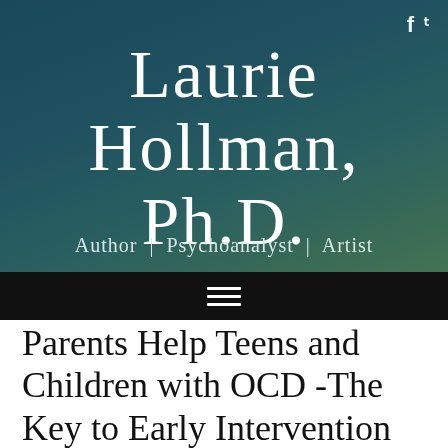f  ✓
Laurie Hollman, Ph.D.
Author | Psychoanalyst | Artist
[Figure (other): Navigation hamburger menu icon (three horizontal white lines on black background)]
Parents Help Teens and Children with OCD -The Key to Early Intervention